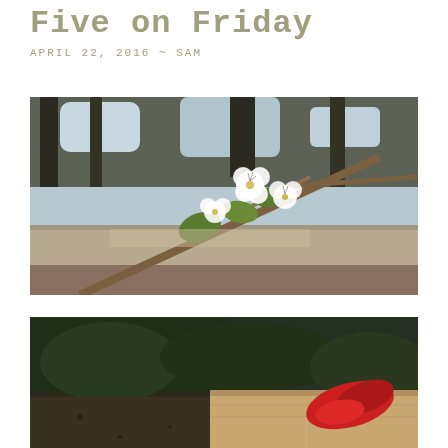Five on Friday
APRIL 22, 2016 ~ SAM
[Figure (photo): Close-up photograph of white cherry or plum blossoms on a branch with green leaves, blurred trees and sky in the background, stone wall visible below.]
[Figure (photo): Outdoor garden scene with white flowers and a red item on what appears to be a stone surface, dark soil and green hedges in background.]